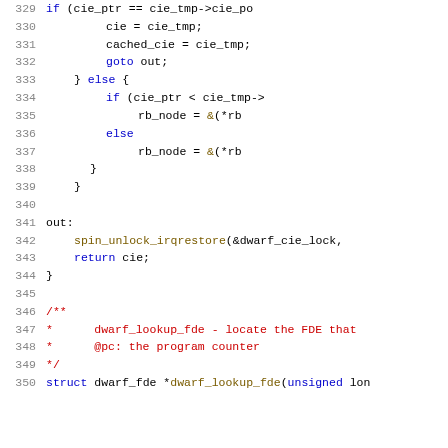[Figure (screenshot): Source code listing showing lines 329-350 of a C program related to DWARF debugging information, featuring functions for CIE lookup with red-black tree operations and spin locks.]